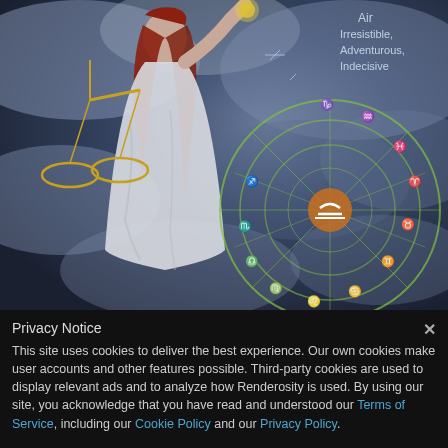[Figure (illustration): Fantasy illustration of a woman in white robes holding golden scales (Libra symbol) in her left hand and a glowing object in her raised right hand, standing against a dramatic cloudy sky background with a zodiac wheel showing all 12 astrological signs, and the Libra symbol highlighted in orange/gold at the center-right. Text overlay in upper right reads 'Air / Irresistible, / Adventurous, / Indecisive'.]
Air
Irresistible,
Adventurous,
Indecisive
Privacy Notice
This site uses cookies to deliver the best experience. Our own cookies make user accounts and other features possible. Third-party cookies are used to display relevant ads and to analyze how Renderosity is used. By using our site, you acknowledge that you have read and understood our Terms of Service, including our Cookie Policy and our Privacy Policy.